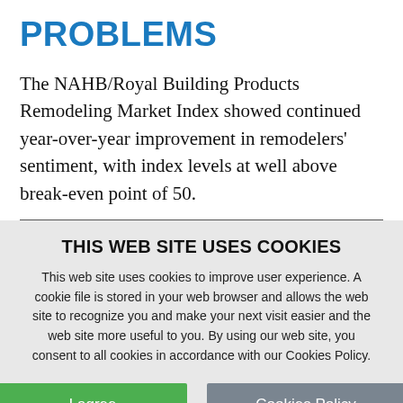PROBLEMS
The NAHB/Royal Building Products Remodeling Market Index showed continued year-over-year improvement in remodelers' sentiment, with index levels at well above break-even point of 50.
THIS WEB SITE USES COOKIES
This web site uses cookies to improve user experience. A cookie file is stored in your web browser and allows the web site to recognize you and make your next visit easier and the web site more useful to you. By using our web site, you consent to all cookies in accordance with our Cookies Policy.
I agree
Cookies Policy